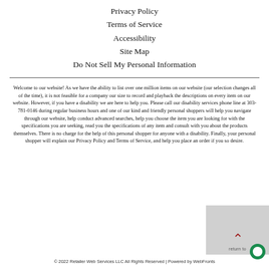Privacy Policy
Terms of Service
Accessibility
Site Map
Do Not Sell My Personal Information
Welcome to our website! As we have the ability to list over one million items on our website (our selection changes all of the time), it is not feasible for a company our size to record and playback the descriptions on every item on our website. However, if you have a disability we are here to help you. Please call our disability services phone line at 303-781-0146 during regular business hours and one of our kind and friendly personal shoppers will help you navigate through our website, help conduct advanced searches, help you choose the item you are looking for with the specifications you are seeking, read you the specifications of any item and consult with you about the products themselves. There is no charge for the help of this personal shopper for anyone with a disability. Finally, your personal shopper will explain our Privacy Policy and Terms of Service, and help you place an order if you so desire.
© 2022 Retailer Web Services LLC All Rights Reserved | Powered by WebFronts